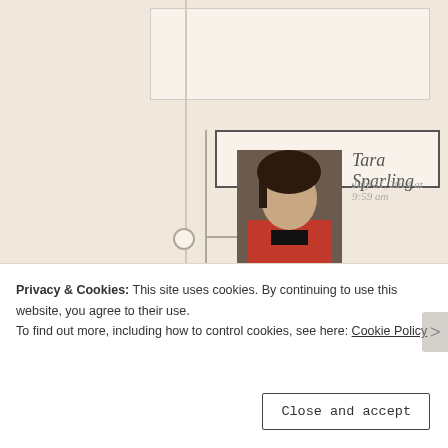Reply
Tara Sparling
July 31, 2014 at 9:59 am
Seriously? You had a romance in the place which I used to challenge people to find in atlases when I was a child? What are you waiting for – go
Privacy & Cookies: This site uses cookies. By continuing to use this website, you agree to their use.
To find out more, including how to control cookies, see here: Cookie Policy
Close and accept